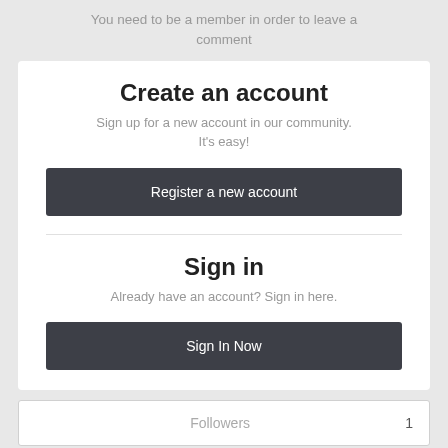You need to be a member in order to leave a comment
Create an account
Sign up for a new account in our community. It's easy!
Register a new account
Sign in
Already have an account? Sign in here.
Sign In Now
Followers  1
GO TO TOPIC LISTING
Video Gaming